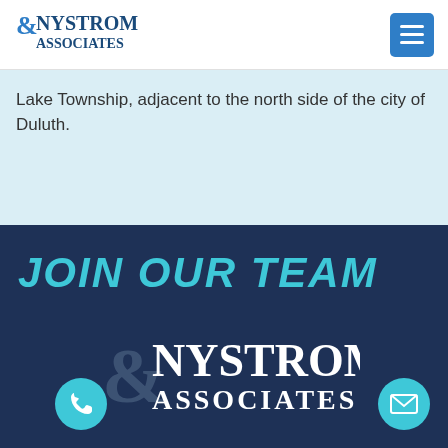[Figure (logo): Nystrom & Associates logo in header, blue text]
Lake Township, adjacent to the north side of the city of Duluth.
JOIN OUR TEAM
[Figure (logo): Nystrom & Associates white logo on dark navy background in footer]